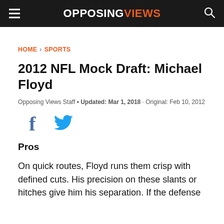OPPOSING VIEWS
HOME > SPORTS
2012 NFL Mock Draft: Michael Floyd
Opposing Views Staff • Updated: Mar 1, 2018 · Original: Feb 10, 2012
[Figure (other): Social share icons: Facebook and Twitter]
Pros
On quick routes, Floyd runs them crisp with defined cuts. His precision on these slants or hitches give him his separation. If the defense